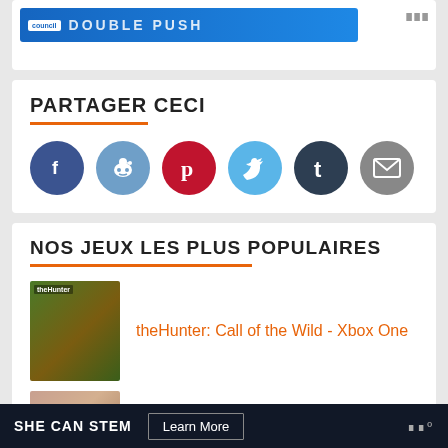[Figure (screenshot): Top banner advertisement with blue background and text]
PARTAGER CECI
[Figure (infographic): Social sharing buttons: Facebook, Reddit, Pinterest, Twitter, Tumblr, Email]
NOS JEUX LES PLUS POPULAIRES
[Figure (photo): theHunter game cover thumbnail]
theHunter: Call of the Wild - Xbox One
[Figure (photo): Being a DIK game cover thumbnail]
Being a DIK - Season 1 - PC
SHE CAN STEM  Learn More